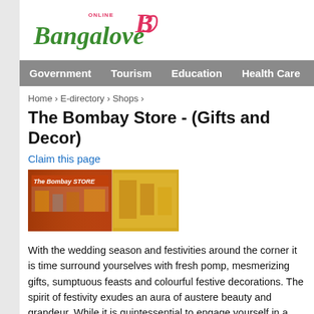[Figure (logo): Online Bangalore logo with green cursive text and pink B icon]
Government  Tourism  Education  Health Care
Home › E-directory › Shops ›
The Bombay Store - (Gifts and Decor)
Claim this page
[Figure (photo): Photo of The Bombay Store exterior and interior]
With the wedding season and festivities around the corner it is time surround yourselves with fresh pomp, mesmerizing gifts, sumptuous feasts and colourful festive decorations. The spirit of festivity exudes an aura of austere beauty and grandeur. While it is quintessential to engage yourself in a quick makeover of your home, the festivities also give you opportunities for gifting - with beautiful products to adorn homes and tasteful fashion